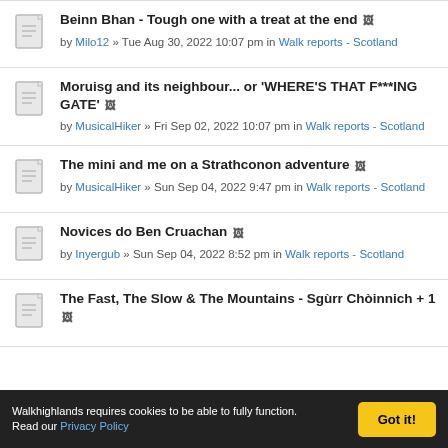Beinn Bhan - Tough one with a treat at the end by Milo12 » Tue Aug 30, 2022 10:07 pm in Walk reports - Scotland
Moruisg and its neighbour... or 'WHERE'S THAT F***ING GATE' by MusicalHiker » Fri Sep 02, 2022 10:07 pm in Walk reports - Scotland
The mini and me on a Strathconon adventure by MusicalHiker » Sun Sep 04, 2022 9:47 pm in Walk reports - Scotland
Novices do Ben Cruachan by Inyergub » Sun Sep 04, 2022 8:52 pm in Walk reports - Scotland
The Fast, The Slow & The Mountains - Sgùrr Chòinnich + 1
Walkhighlands requires cookies to be able to fully function. Read our Privacy Policy